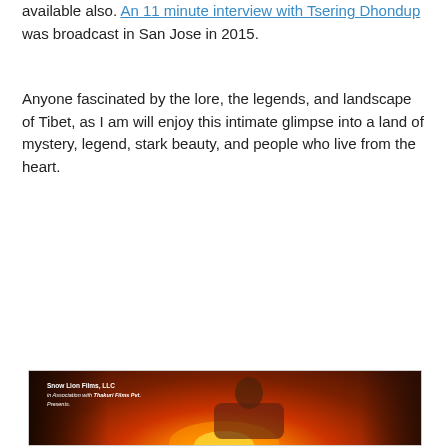available also. An 11 minute interview with Tsering Dhondup was broadcast in San Jose in 2015.
Anyone fascinated by the lore, the legends, and landscape of Tibet, as I am will enjoy this intimate glimpse into a land of mystery, legend, stark beauty, and people who live from the  heart.
[Figure (photo): A Tibetan man with long dreadlocked hair, wearing a red vest and white shirt, sitting cross-legged with hands clasped in prayer near a fire. Text overlay reads: Snow Lion Films, LLC in Association with Thakuri Films Pvt. Presents.]